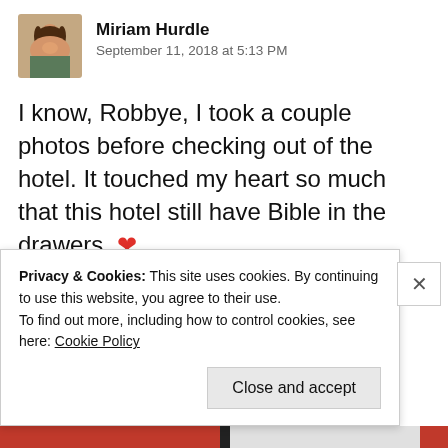[Figure (photo): Profile photo of Miriam Hurdle, a woman with dark hair]
Miriam Hurdle
September 11, 2018 at 5:13 PM
I know, Robbye, I took a couple photos before checking out of the hotel. It touched my heart so much that this hotel still have Bible in the drawers. ❤
★ Liked by 1 person
Privacy & Cookies: This site uses cookies. By continuing to use this website, you agree to their use.
To find out more, including how to control cookies, see here: Cookie Policy
Close and accept